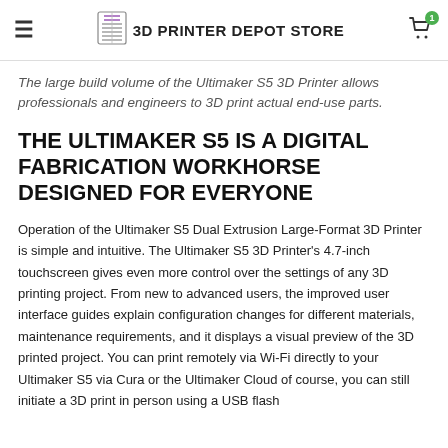3D PRINTER DEPOT STORE
The large build volume of the Ultimaker S5 3D Printer allows professionals and engineers to 3D print actual end-use parts.
THE ULTIMAKER S5 IS A DIGITAL FABRICATION WORKHORSE DESIGNED FOR EVERYONE
Operation of the Ultimaker S5 Dual Extrusion Large-Format 3D Printer is simple and intuitive. The Ultimaker S5 3D Printer's 4.7-inch touchscreen gives even more control over the settings of any 3D printing project. From new to advanced users, the improved user interface guides explain configuration changes for different materials, maintenance requirements, and it displays a visual preview of the 3D printed project. You can print remotely via Wi-Fi directly to your Ultimaker S5 via Cura or the Ultimaker Cloud of course, you can still initiate a 3D print in person using a USB flash